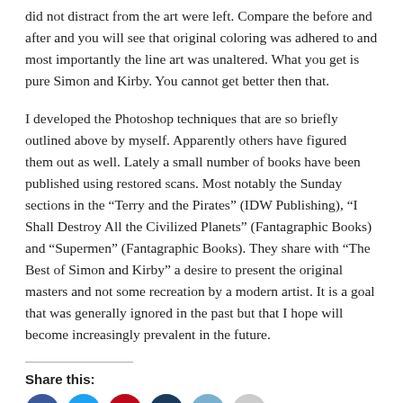did not distract from the art were left. Compare the before and after and you will see that original coloring was adhered to and most importantly the line art was unaltered. What you get is pure Simon and Kirby. You cannot get better then that.
I developed the Photoshop techniques that are so briefly outlined above by myself. Apparently others have figured them out as well. Lately a small number of books have been published using restored scans. Most notably the Sunday sections in the “Terry and the Pirates” (IDW Publishing), “I Shall Destroy All the Civilized Planets” (Fantagraphic Books) and “Supermen” (Fantagraphic Books). They share with “The Best of Simon and Kirby” a desire to present the original masters and not some recreation by a modern artist. It is a goal that was generally ignored in the past but that I hope will become increasingly prevalent in the future.
Share this: